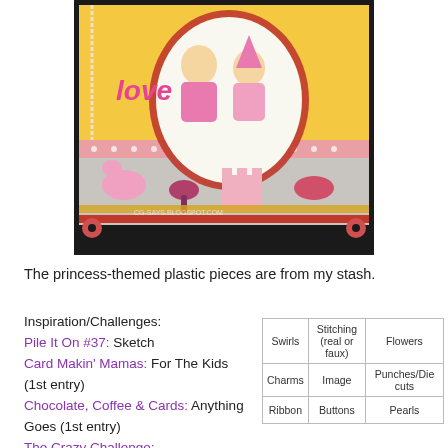[Figure (photo): A handmade craft card featuring two cartoon princess girls on a yellow background with 'love' text, pink plastic princess-themed embellishments including a pony, castle, brush, and shoes at the bottom, with pearl and ribbon decorations. Watermark reads CG-SAYS.BLOGSPOT.COM]
The princess-themed plastic pieces are from my stash.
Inspiration/Challenges:
Pile It On #37: Sketch
Card Makin' Mamas: For The Kids (1st entry)
Chocolate, Coffee & Cards: Anything Goes (1st entry)
The Crazy Challenge:
BINGO (Bottom Row:
| Swirls | Stitching (real or faux) | Flowers |
| --- | --- | --- |
| Charms | Image | Punches/Die cuts |
| Ribbon | Buttons | Pearls |